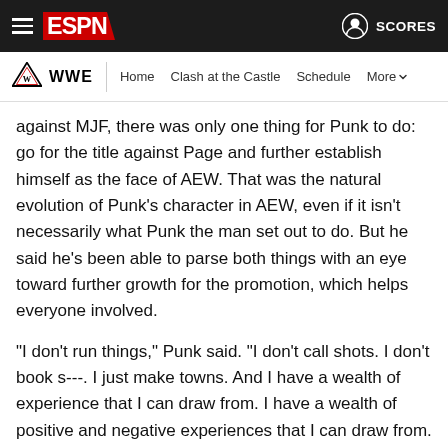ESPN | WWE — Home | Clash at the Castle | Schedule | More
against MJF, there was only one thing for Punk to do: go for the title against Page and further establish himself as the face of AEW. That was the natural evolution of Punk's character in AEW, even if it isn't necessarily what Punk the man set out to do. But he said he's been able to parse both things with an eye toward further growth for the promotion, which helps everyone involved.
"I don't run things," Punk said. "I don't call shots. I don't book s---. I just make towns. And I have a wealth of experience that I can draw from. I have a wealth of positive and negative experiences that I can draw from. I'm not sitting back trying to hold people back, politic or anything. I'm just literally trying to make this place better."